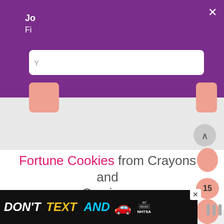[Figure (screenshot): Purple modal dialog partially visible showing 'Jo...' and 'Fi...' text with white input field and salmon/peach button. White input field shows 'Y...' placeholder. Close X button in top right corner.]
Fortune Cookies from Crayons and Cravings
[Figure (screenshot): Peach/salmon blob decoration with number 15]
[Figure (screenshot): Advertisement banner: DON'T TEXT AND [car emoji] ad with NHTSA logo and close button. Weatherbug widget showing bars and degree symbol.]